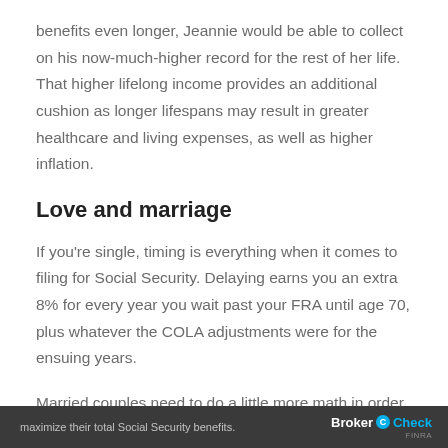benefits even longer, Jeannie would be able to collect on his now-much-higher record for the rest of her life. That higher lifelong income provides an additional cushion as longer lifespans may result in greater healthcare and living expenses, as well as higher inflation.
Love and marriage
If you're single, timing is everything when it comes to filing for Social Security. Delaying earns you an extra 8% for every year you wait past your FRA until age 70, plus whatever the COLA adjustments were for the ensuing years.
Married couples need to do a little more math in order to maximize their total Social Security benefits.
maximize their total Social Security benefits.  BrokerCheck FINRA